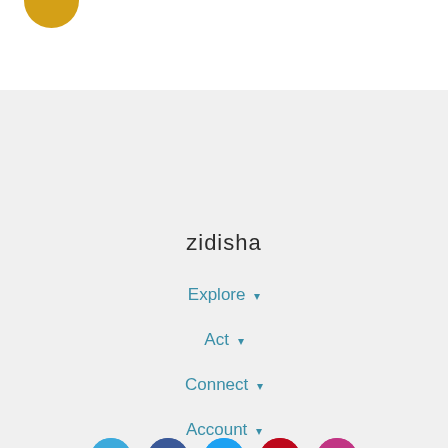[Figure (logo): Partial golden/yellow circle logo at top left, partially cropped]
zidisha
Explore ▾
Act ▾
Connect ▾
Account ▾
[Figure (illustration): Row of 5 social media icon circles: WordPress (blue), Facebook (dark blue), Twitter (light blue), Pinterest (red), Instagram (pink/magenta)]
© 2009 - 2022 Zidisha, Inc. • Terms and Privacy • Contact